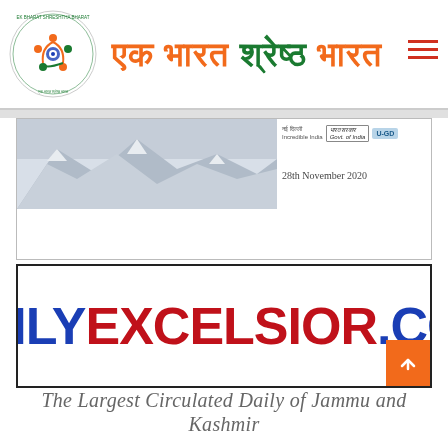एक भारत श्रेष्ठ भारत
[Figure (screenshot): Mountain landscape with government logos and date 28th November 2020]
[Figure (logo): Daily Excelsior .com logo — DAILY in blue, EXCELSIOR in red, .COM in blue]
The Largest Circulated Daily of Jammu and Kashmir